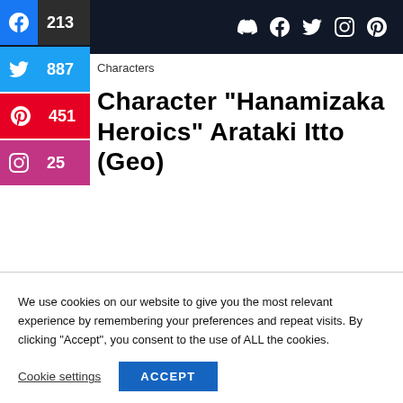Navigation bar with social icons: Discord, Facebook, Twitter, Instagram, Pinterest
[Figure (infographic): Social share sidebar with Facebook 213, Twitter 887, Pinterest 451, Instagram 25]
Characters
Character “Hanamizaka Heroics” Arataki Itto (Geo)
We use cookies on our website to give you the most relevant experience by remembering your preferences and repeat visits. By clicking “Accept”, you consent to the use of ALL the cookies.
Cookie settings   ACCEPT